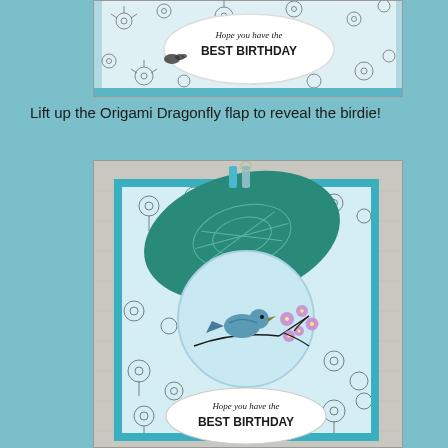[Figure (photo): Top portion of a handmade birthday card with floral black and white pattern background, teal/blue border, and a white oval badge reading 'Hope you have the BEST BIRTHDAY' in script and bold text.]
Lift up the Origami Dragonfly flap to reveal the birdie!
[Figure (photo): Handmade birthday card with flap lifted showing a blue bird on a branch with purple flowers inside a circular window. The card has a black and white floral pattern background with teal border. An oval flap with leaf/fern design is lifted up. Bottom badge reads 'Hope you have the BEST BIRTHDAY'.]